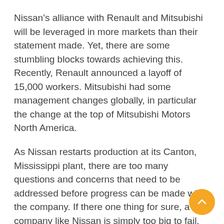Nissan's alliance with Renault and Mitsubishi will be leveraged in more markets than their statement made. Yet, there are some stumbling blocks towards achieving this. Recently, Renault announced a layoff of 15,000 workers. Mitsubishi had some management changes globally, in particular the change at the top of Mitsubishi Motors North America.
As Nissan restarts production at its Canton, Mississippi plant, there are too many questions and concerns that need to be addressed before progress can be made with the company. If there one thing for sure, a company like Nissan is simply too big to fail. Not with its decades-long legacy on the line. But, Uchida needs to show us proof that Nissan can emerge from a pandemic-induced economic…